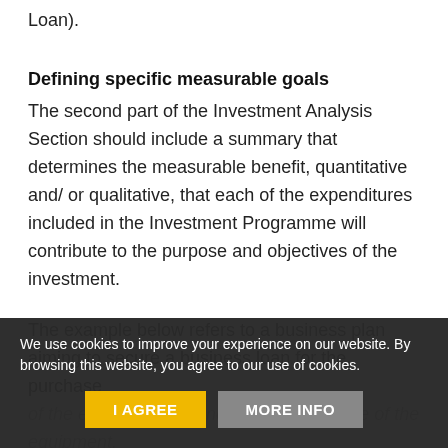Loan).
Defining specific measurable goals
The second part of the Investment Analysis Section should include a summary that determines the measurable benefit, quantitative and/ or qualitative, that each of the expenditures included in the Investment Programme will contribute to the purpose and objectives of the investment.
The example below refers to a business plan aiming to secure a business loan for the purchase of the equipment. It concerns the purchase of the equipment.
The purchase and use of a brand new
We use cookies to improve your experience on our website. By browsing this website, you agree to our use of cookies.